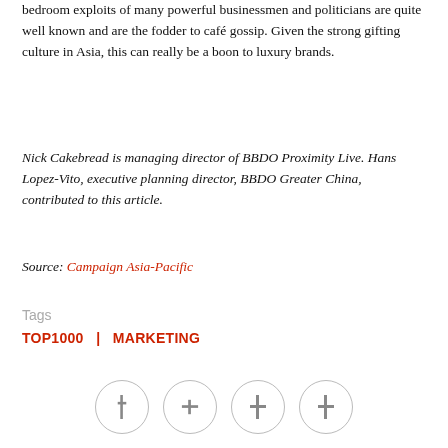bedroom exploits of many powerful businessmen and politicians are quite well known and are the fodder to café gossip. Given the strong gifting culture in Asia, this can really be a boon to luxury brands.
Nick Cakebread is managing director of BBDO Proximity Live. Hans Lopez-Vito, executive planning director, BBDO Greater China, contributed to this article.
Source: Campaign Asia-Pacific
Tags
TOP1000   |   MARKETING
[Figure (other): Four social media share/action icon buttons in circles]